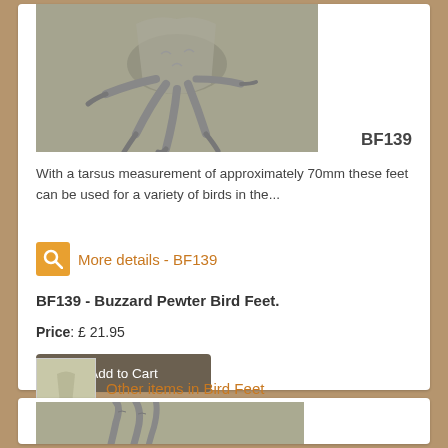[Figure (photo): Close-up photo of pewter bird feet/talons (buzzard) against a gray-green background]
BF139
With a tarsus measurement of approximately 70mm these feet can be used for a variety of birds in the...
More details - BF139
BF139 - Buzzard Pewter Bird Feet.
Price: £ 21.95
Add to Cart
[Figure (photo): Thumbnail image of bird feet]
Other items in Bird Feet
[Figure (photo): Partial photo of pewter bird feet/talons at bottom of page]